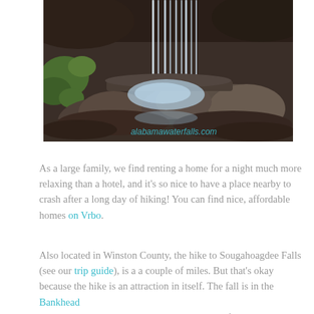[Figure (photo): A waterfall cascading down a rock face into a pool, surrounded by mossy rocks and greenery. Watermark reads 'alabamawaterfalls.com' in cyan/teal text at the bottom right.]
As a large family, we find renting a home for a night much more relaxing than a hotel, and it's so nice to have a place nearby to crash after a long day of hiking! You can find nice, affordable homes on Vrbo.
Also located in Winston County, the hike to Sougahoagdee Falls (see our trip guide), is a a couple of miles. But that's okay because the hike is an attraction in itself. The fall is in the Bankhead National Forest, which is home to many waterfalls